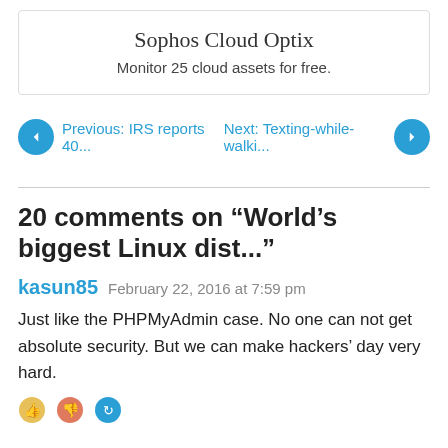[Figure (other): Advertisement box for Sophos Cloud Optix with title and subtitle]
Sophos Cloud Optix
Monitor 25 cloud assets for free.
Previous: IRS reports 40...
Next: Texting-while-walki...
20 comments on “World’s biggest Linux dist...”
kasun85  February 22, 2016 at 7:59 pm
Just like the PHPMyAdmin case. No one can not get absolute security. But we can make hackers’ day very hard.